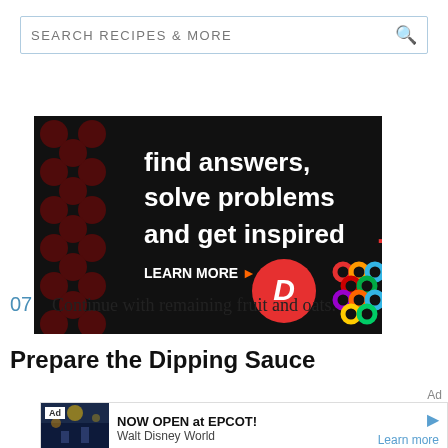[Figure (screenshot): Search bar with text SEARCH RECIPES & MORE and a magnifying glass icon on the right]
[Figure (screenshot): Advertisement banner on dark background with red and dark dots pattern, white bold text: find answers, solve problems and get inspired. with red period, LEARN MORE with orange arrow, and logos for Dotdash (red D circle) and About.com (colorful diamond lattice)]
07  Continue with remaining fruit and oats.
Prepare the Dipping Sauce
[Figure (screenshot): Bottom advertisement for Walt Disney World EPCOT: NOW OPEN at EPCOT! with image of Disney event, Learn more link in blue]